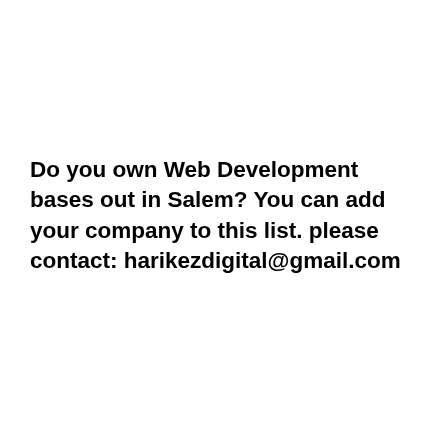Do you own Web Development bases out in Salem? You can add your company to this list. please contact: harikezdigital@gmail.com